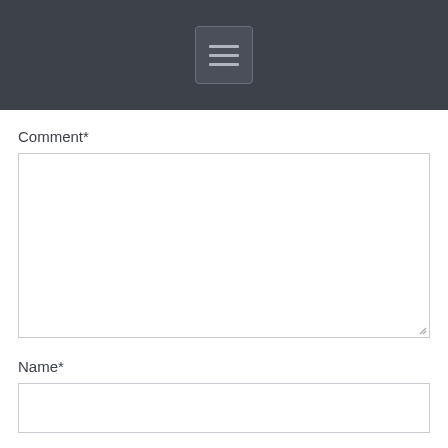[Figure (screenshot): Dark navigation bar with a hamburger menu button (three horizontal lines) centered on it]
Comment*
[Figure (screenshot): Large empty textarea input field with a resize handle in the bottom-right corner]
Name*
[Figure (screenshot): Single-line text input field for Name]
E-mail*
[Figure (screenshot): Single-line text input field for E-mail]